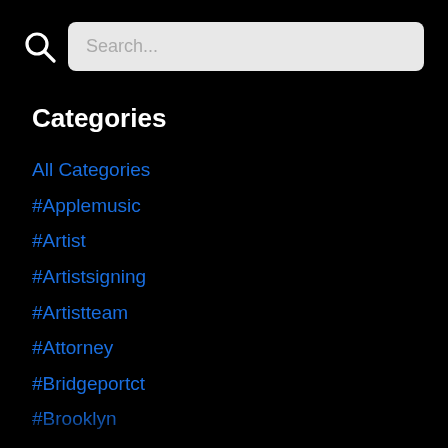[Figure (screenshot): Search bar with magnifying glass icon on black background]
Categories
All Categories
#Applemusic
#Artist
#Artistsigning
#Artistteam
#Attorney
#Bridgeportct
#Brooklyn
#Businessplan
#Cinematographer
#Clubhouse
#Copyright
#Copyrights